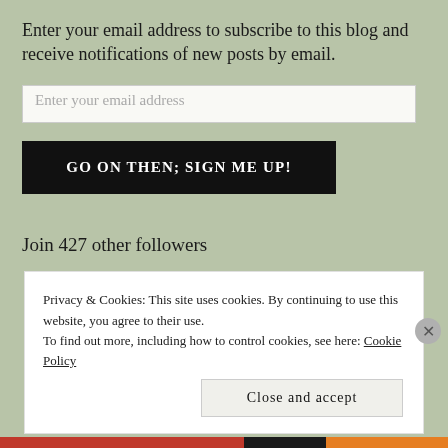Enter your email address to subscribe to this blog and receive notifications of new posts by email.
Enter your email address
GO ON THEN; SIGN ME UP!
Join 427 other followers
Privacy & Cookies: This site uses cookies. By continuing to use this website, you agree to their use.
To find out more, including how to control cookies, see here: Cookie Policy
Close and accept